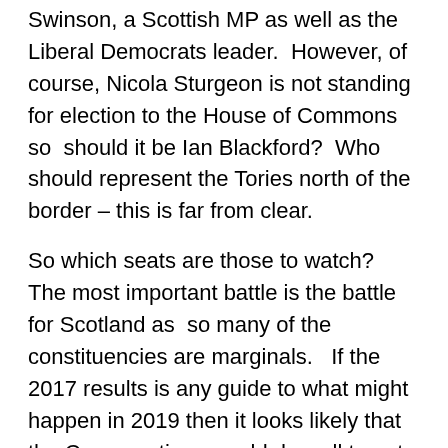Swinson, a Scottish MP as well as the Liberal Democrats leader.  However, of course, Nicola Sturgeon is not standing for election to the House of Commons so  should it be Ian Blackford?  Who should represent the Tories north of the border – this is far from clear.
So which seats are those to watch?   The most important battle is the battle for Scotland as  so many of the constituencies are marginals.   If the 2017 results is any guide to what might happen in 2019 then it looks likely that the Conservatives would do well to get more than 3 seats in Scotland – mostly in the Scottish borders.   What happens to the the deserting Conservative voters is critical to the outcome of so many seats in Scotland.   The only viable unionist home for these voters would appear to be the Lib Dems.   If this is the case and the Lib Dems have good election then, based on the the 2017 results, the